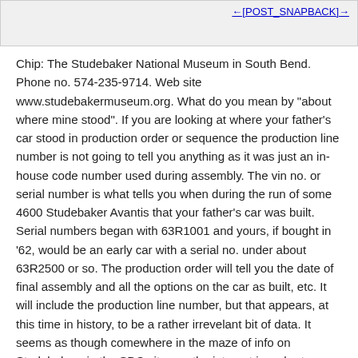←[POST_SNAPBACK]→
Chip: The Studebaker National Museum in South Bend. Phone no. 574-235-9714. Web site www.studebakermuseum.org. What do you mean by "about where mine stood". If you are looking at where your father's car stood in production order or sequence the production line number is not going to tell you anything as it was just an in-house code number used during assembly. The vin no. or serial number is what tells you when during the run of some 4600 Studebaker Avantis that your father's car was built. Serial numbers began with 63R1001 and yours, if bought in '62, would be an early car with a serial no. under about 63R2500 or so. The production order will tell you the date of final assembly and all the options on the car as built, etc. It will include the production line number, but that appears, at this time in history, to be a rather irrevelant bit of data. It seems as though comewhere in the maze of info on Studebakers in the SDC sites on the internet is a chart showing month ending serial numbers or something similar, but I can't recall how to get there. Hope this helps. Any further questions just holler. Oh, by your serial no. yours is the 12th car built and in the same family since new--very